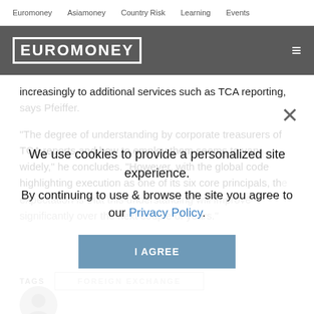Euromoney   Asiamoney   Country Risk   Learning   Events
[Figure (logo): Euromoney logo in white block letters on dark grey background with hamburger menu icon]
increasingly to additional services such as TCA reporting, says Pfeiffer.
“The degree of understanding by corporate treasurers of TCA reports and how to employ them seems to vary widely,” he concludes. “However, with the global code highlighting execution as one of its six core principals, the expectation is that this understanding will improve significantly over the next couple of years.”
We use cookies to provide a personalized site experience.
By continuing to use & browse the site you agree to our Privacy Policy.
FOREIGN EXCHANGE
[Figure (photo): Circular avatar/profile photo placeholder at bottom left]